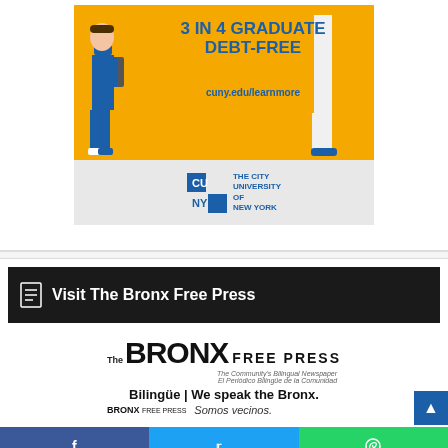[Figure (illustration): CUNY advertisement banner showing two students (illustrated), orange background with text '3 IN 4 GRADUATE DEBT-FREE', URL cuny.edu/learnmore, and CUNY logo on gray background]
Visit The Bronx Free Press
[Figure (logo): The Bronx Free Press logo with tagline 'Bilingüe | We speak the Bronx.' and 'Somos vecinos.' subtitle text]
[Figure (infographic): Social media share bar with Facebook, Twitter, and WhatsApp icons]